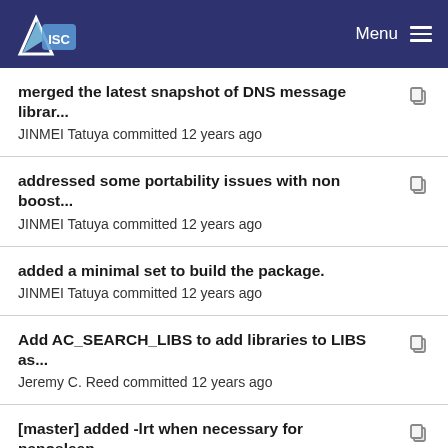ISC — Menu
merged the latest snapshot of DNS message librar...
JINMEI Tatuya committed 12 years ago
addressed some portability issues with non boost...
JINMEI Tatuya committed 12 years ago
added a minimal set to build the package.
JINMEI Tatuya committed 12 years ago
Add AC_SEARCH_LIBS to add libraries to LIBS as...
Jeremy C. Reed committed 12 years ago
[master] added -lrt when necessary for nanosleep....
JINMEI Tatuya committed 11 years ago
Add AC_SEARCH_LIBS to add libraries to LIBS as...
Jeremy C. Reed committed 12 years ago
added a minimal set to build the package.
JINMEI Tatuya committed 12 years ago